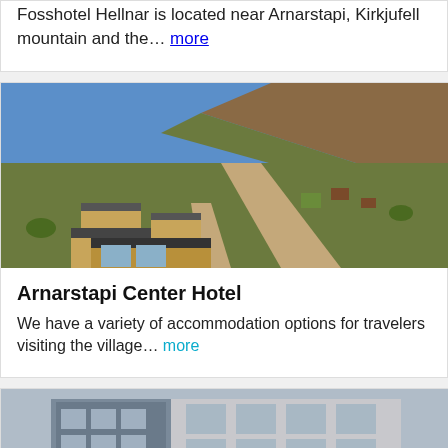Fosshotel Hellnar is located near Arnarstapi, Kirkjufell mountain and the… more
[Figure (photo): Aerial view of Arnarstapi village with buildings, dirt roads, green fields, and a mountain in the background under blue sky]
Arnarstapi Center Hotel
We have a variety of accommodation options for travelers visiting the village… more
[Figure (photo): Partial view of a multi-story building facade with grey cladding and windows under a cloudy sky]